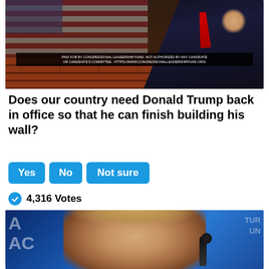[Figure (photo): Political image showing a person in a suit with raised fist against a brick wall and American flag background, with a disclaimer bar at the bottom]
Does our country need Donald Trump back in office so that he can finish building his wall?
Yes
No
Not sure
4,316 Votes
[Figure (photo): Close-up photo of Donald Trump speaking at a podium with microphone against a blue background with partial text visible]